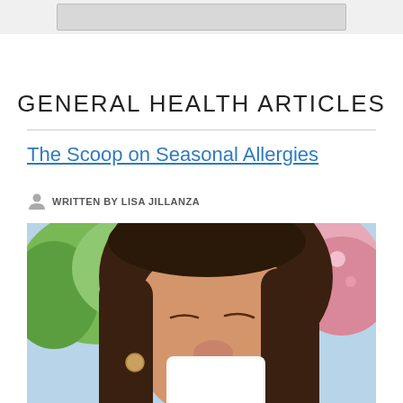[Figure (photo): Cropped top portion of a website/webpage showing a partially visible header image (gray/silver UI element at the very top of the page)]
GENERAL HEALTH ARTICLES
The Scoop on Seasonal Allergies
WRITTEN BY LISA JILLANZA
[Figure (photo): Photo of a young woman with long dark brown hair, eyes closed, blowing her nose into a white tissue. Background shows blurred pink flowering trees and green foliage, suggesting a spring outdoor setting.]